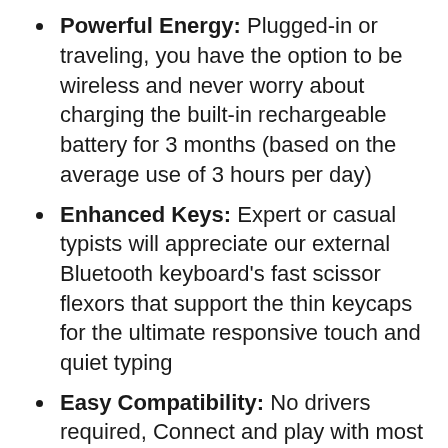Bluetooth keyboard is only 15 millimeters in thickness (0.59 inches)
Powerful Energy: Plugged-in or traveling, you have the option to be wireless and never worry about charging the built-in rechargeable battery for 3 months (based on the average use of 3 hours per day)
Enhanced Keys: Expert or casual typists will appreciate our external Bluetooth keyboard's fast scissor flexors that support the thin keycaps for the ultimate responsive touch and quiet typing
Easy Compatibility: No drivers required, Connect and play with most Bluetooth compatible technology (Smart TVs, Gaming Consoles, Apple,